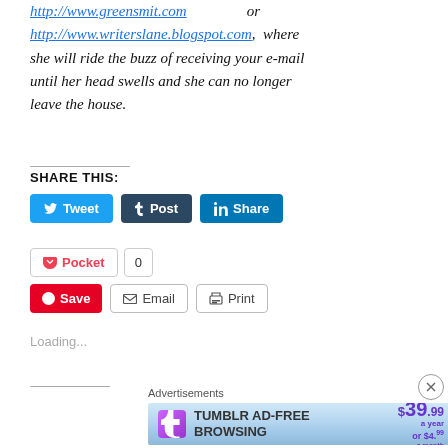http://www.greensmit.com or http://www.writerslane.blogspot.com, where she will ride the buzz of receiving your e-mail until her head swells and she can no longer leave the house.
SHARE THIS:
[Figure (screenshot): Social share buttons: Tweet (Twitter), Post (Tumblr), Share (LinkedIn), Pocket with count 0, Save (Pinterest), Email, Print]
Loading...
Advertisements
[Figure (infographic): Tumblr Ad-Free Browsing advertisement banner: $39.99 a year or $4.99 a month]